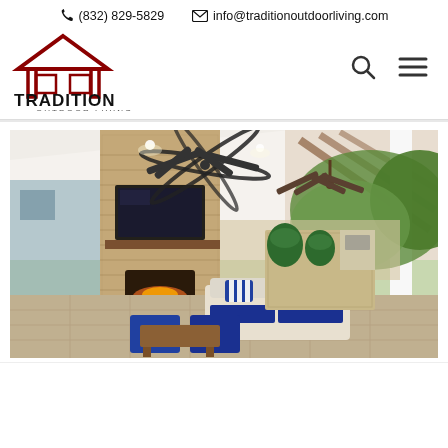(832) 829-5829   info@traditionoutdoorliving.com
[Figure (logo): Tradition Outdoor Living logo with house icon and text]
[Figure (photo): Covered outdoor living space with ceiling fans, brick fireplace with mounted TV, blue and white upholstered seating, wooden coffee tables, and outdoor kitchen with green Big Green Egg grills in background]